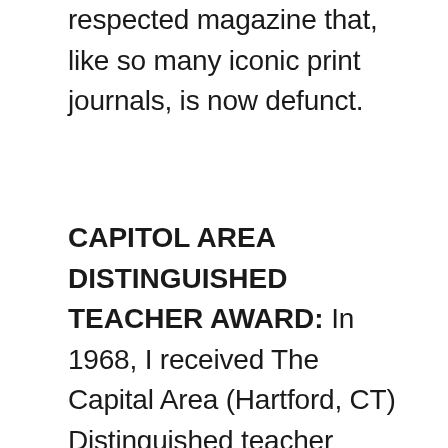respected magazine that, like so many iconic print journals, is now defunct.
CAPITOL AREA DISTINGUISHED TEACHER AWARD: In 1968, I received The Capital Area (Hartford, CT) Distinguished teacher Award from Trinity College. One each was awarded to an independent school and a public school teacher each